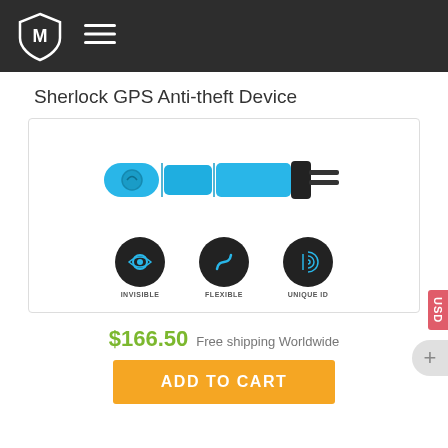ACCESSORIES
Sherlock GPS Anti-theft Device
[Figure (photo): Sherlock GPS Anti-theft device shown in blue, with three feature icons below labeled INVISIBLE, FLEXIBLE, and UNIQUE ID]
$166.50 Free shipping Worldwide
ADD TO CART